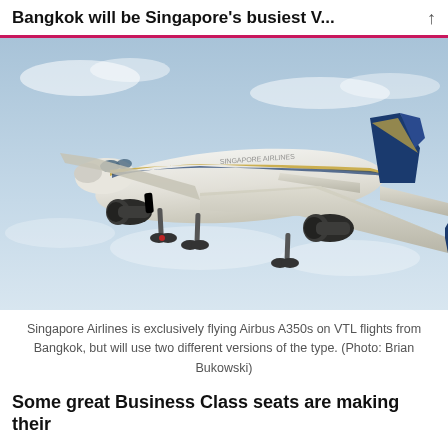Bangkok will be Singapore's busiest V...
[Figure (photo): Singapore Airlines Airbus A350 in flight on approach, white livery with gold and blue stripe, landing gear extended, blue sky background.]
Singapore Airlines is exclusively flying Airbus A350s on VTL flights from Bangkok, but will use two different versions of the type. (Photo: Brian Bukowski)
Some great Business Class seats are making their